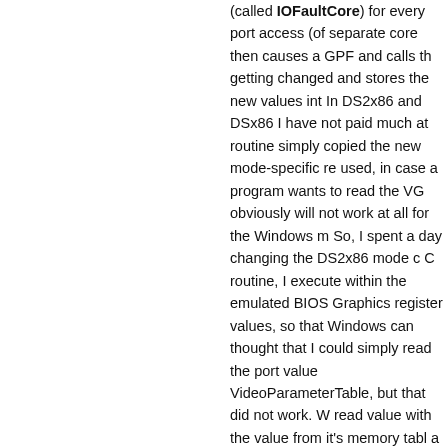(called IOFaultCore) for every port access (of separate core then causes a GPF and calls the getting changed and stores the new values into In DS2x86 and DSx86 I have not paid much at routine simply copied the new mode-specific re used, in case a program wants to read the VGA obviously will not work at all for the Windows m So, I spent a day changing the DS2x86 mode c C routine, I execute within the emulated BIOS Graphics register values, so that Windows can thought that I could simply read the port value VideoParameterTable, but that did not work. W read value with the value from it's memory tabl a game from changing the graphics mode for m When running such code within DS2x86, there After I finally got Windows to think that it is run INT 15 call!" problem (Windows tried to detect simply drops back to DOS with no messages. T doing. I still have various missing features in th time debugging this problem and comparing th Have a Happy Easter, and I hope you can wait Windows internals while attempting to make it
http://dsx86.patrickaalto.com/DSblog.html
To read more of the post and Download, cli
Join In and Discuss Here